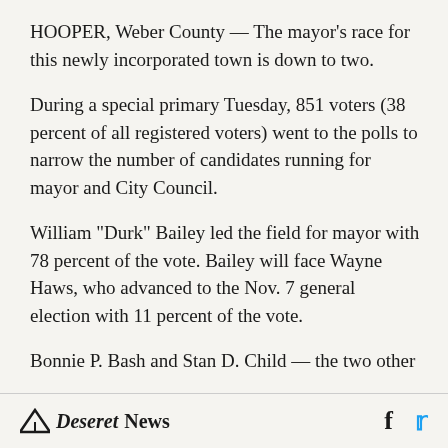HOOPER, Weber County — The mayor's race for this newly incorporated town is down to two.
During a special primary Tuesday, 851 voters (38 percent of all registered voters) went to the polls to narrow the number of candidates running for mayor and City Council.
William "Durk" Bailey led the field for mayor with 78 percent of the vote. Bailey will face Wayne Haws, who advanced to the Nov. 7 general election with 11 percent of the vote.
Bonnie P. Bash and Stan D. Child — the two other
Deseret News